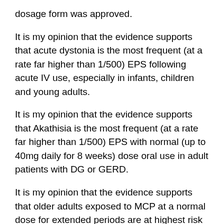dosage form was approved.
It is my opinion that the evidence supports that acute dystonia is the most frequent (at a rate far higher than 1/500) EPS following acute IV use, especially in infants, children and young adults.
It is my opinion that the evidence supports that Akathisia is the most frequent (at a rate far higher than 1/500) EPS with normal (up to 40mg daily for 8 weeks) dose oral use in adult patients with DG or GERD.
It is my opinion that the evidence supports that older adults exposed to MCP at a normal dose for extended periods are at highest risk for Parkinsonism. Males with decreased kidney function on higher doses are at greatest risk.